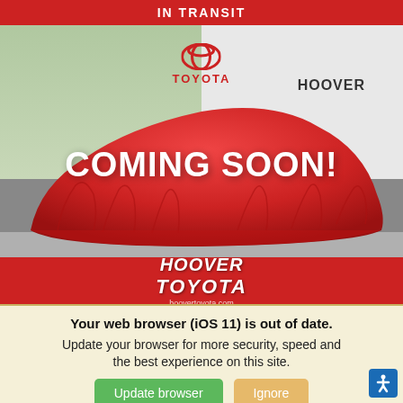IN TRANSIT
[Figure (photo): A car covered with a red drape in front of a Toyota / Hoover dealership building. Large white text reads 'COMING SOON!' over the drape. The Hoover Toyota logo is visible at the bottom of the image.]
Your web browser (iOS 11) is out of date. Update your browser for more security, speed and the best experience on this site.
Update browser  Ignore